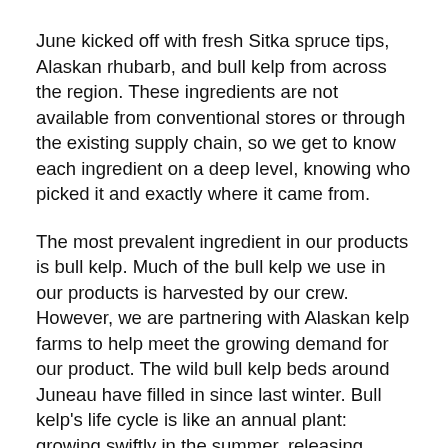June kicked off with fresh Sitka spruce tips, Alaskan rhubarb, and bull kelp from across the region. These ingredients are not available from conventional stores or through the existing supply chain, so we get to know each ingredient on a deep level, knowing who picked it and exactly where it came from.
The most prevalent ingredient in our products is bull kelp. Much of the bull kelp we use in our products is harvested by our crew. However, we are partnering with Alaskan kelp farms to help meet the growing demand for our product. The wild bull kelp beds around Juneau have filled in since last winter. Bull kelp's life cycle is like an annual plant: growing swiftly in the summer, releasing spores to seed the next generation, then dying back in the winter. We have learned to harvest cautiously from the wild kelp beds, as they provide habitat for a diversity of other life.
Through our products, we share the story of this place and its people and the wildlife that surround them. B...